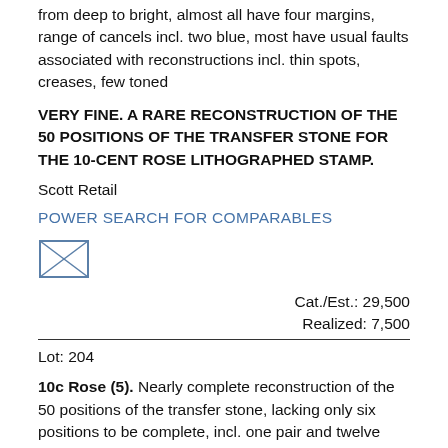from deep to bright, almost all have four margins, range of cancels incl. two blue, most have usual faults associated with reconstructions incl. thin spots, creases, few toned
VERY FINE. A RARE RECONSTRUCTION OF THE 50 POSITIONS OF THE TRANSFER STONE FOR THE 10-CENT ROSE LITHOGRAPHED STAMP.
Scott Retail
POWER SEARCH FOR COMPARABLES
[Figure (other): Envelope/mail icon - a small square with an X drawn inside representing a letter/envelope]
Cat./Est.: 29,500
Realized: 7,500
Lot: 204
10c Rose (5). Nearly complete reconstruction of the 50 positions of the transfer stone, lacking only six positions to be complete, incl. one pair and twelve original gum singles, 30 used, incl. bottom left corner margin single with huge corner margin, every stamp